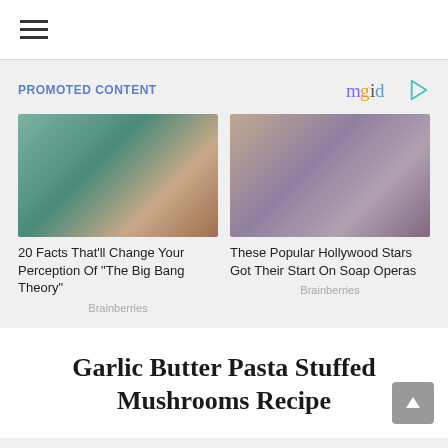[Figure (screenshot): Navigation bar with hamburger menu icon]
PROMOTED CONTENT
[Figure (logo): mgid logo with play button icon]
[Figure (photo): Woman sitting on a teal couch, a scene from The Big Bang Theory]
20 Facts That'll Change Your Perception Of "The Big Bang Theory"
Brainberries
[Figure (photo): Dark-haired woman looking up, Hollywood actress on soap opera]
These Popular Hollywood Stars Got Their Start On Soap Operas
Brainberries
Garlic Butter Pasta Stuffed Mushrooms Recipe